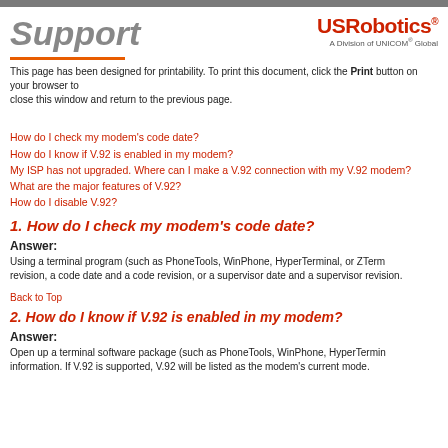Support
[Figure (logo): USRobotics logo with tagline 'A Division of UNICOM Global']
This page has been designed for printability. To print this document, click the Print button on your browser to close this window and return to the previous page.
How do I check my modem's code date?
How do I know if V.92 is enabled in my modem?
My ISP has not upgraded. Where can I make a V.92 connection with my V.92 modem?
What are the major features of V.92?
How do I disable V.92?
1. How do I check my modem's code date?
Answer:
Using a terminal program (such as PhoneTools, WinPhone, HyperTerminal, or ZTerm revision, a code date and a code revision, or a supervisor date and a supervisor revision.
Back to Top
2. How do I know if V.92 is enabled in my modem?
Answer:
Open up a terminal software package (such as PhoneTools, WinPhone, HyperTerminal information. If V.92 is supported, V.92 will be listed as the modem's current mode.